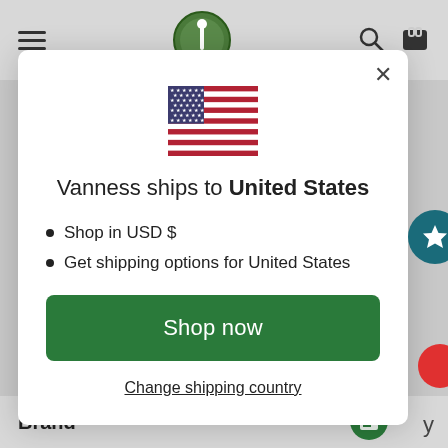[Figure (screenshot): Website navigation bar with hamburger menu, circular logo, search icon, and cart icon on gray background]
[Figure (illustration): US flag emoji/icon centered in the modal]
Vanness ships to United States
Shop in USD $
Get shipping options for United States
Shop now
Change shipping country
Brand
REWARDS
y